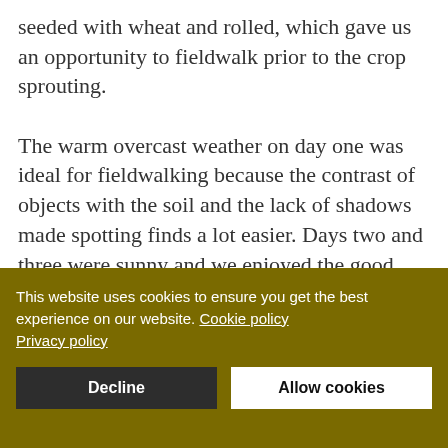seeded with wheat and rolled, which gave us an opportunity to fieldwalk prior to the crop sprouting.

The warm overcast weather on day one was ideal for fieldwalking because the contrast of objects with the soil and the lack of shadows made spotting finds a lot easier. Days two and three were sunny and we enjoyed the good weather to work in. Finds were multi-period (from worked flints to 21st
This website uses cookies to ensure you get the best experience on our website. Cookie policy
Privacy policy